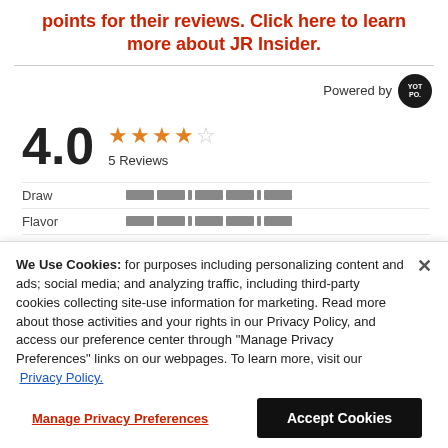points for their reviews. Click here to learn more about JR Insider.
Powered by YOTPO
4.0  ★★★★☆  5 Reviews
Draw
Flavor
Construction
We Use Cookies: for purposes including personalizing content and ads; social media; and analyzing traffic, including third-party cookies collecting site-use information for marketing. Read more about those activities and your rights in our Privacy Policy, and access our preference center through "Manage Privacy Preferences" links on our webpages. To learn more, visit our Privacy Policy.
Manage Privacy Preferences
Accept Cookies